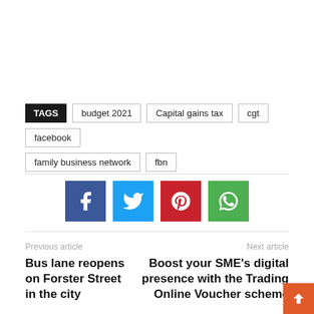TAGS  budget 2021  Capital gains tax  cgt  facebook  family business network  fbn
[Figure (infographic): Social share buttons: Facebook (dark blue), Twitter (light blue), Pinterest (red), WhatsApp (green)]
Previous article
Bus lane reopens on Forster Street in the city
Next article
Boost your SME's digital presence with the Trading Online Voucher scheme